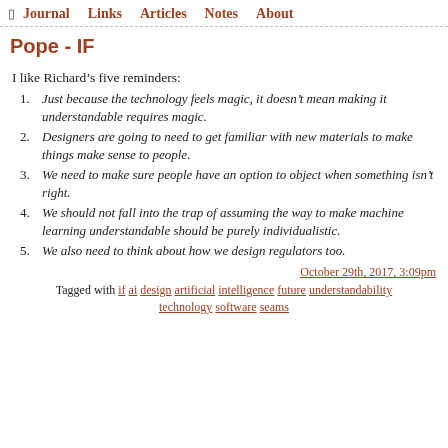Journal  Links  Articles  Notes  About
Pope - IF
I like Richard’s five reminders:
Just because the technology feels magic, it doesn’t mean making it understandable requires magic.
Designers are going to need to get familiar with new materials to make things make sense to people.
We need to make sure people have an option to object when something isn’t right.
We should not fall into the trap of assuming the way to make machine learning understandable should be purely individualistic.
We also need to think about how we design regulators too.
October 29th, 2017, 3:09pm
Tagged with if ai design artificial intelligence future understandability technology software seams